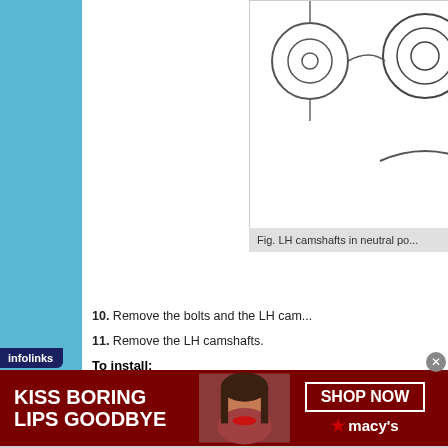[Figure (engineering-diagram): Technical diagram of LH camshafts in neutral position, showing mechanical components with circular and curved line drawings]
Fig. LH camshafts in neutral po...
10. Remove the bolts and the LH cam...
11. Remove the LH camshafts.
To install:
WARNING
Do not smoke, carry lighted tobacco or h... component. Highly flammable mixtures a... may result in serious personal injury.
[Figure (photo): Advertisement banner: KISS BORING LIPS GOODBYE - Macy's cosmetics ad with woman's face and red lips. SHOP NOW button with Macy's star logo.]